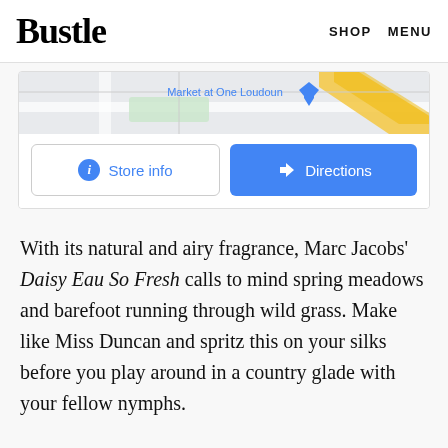Bustle  SHOP  MENU
[Figure (screenshot): Google Maps screenshot showing Market at One Loudoun location with Store info and Directions buttons]
With its natural and airy fragrance, Marc Jacobs' Daisy Eau So Fresh calls to mind spring meadows and barefoot running through wild grass. Make like Miss Duncan and spritz this on your silks before you play around in a country glade with your fellow nymphs.